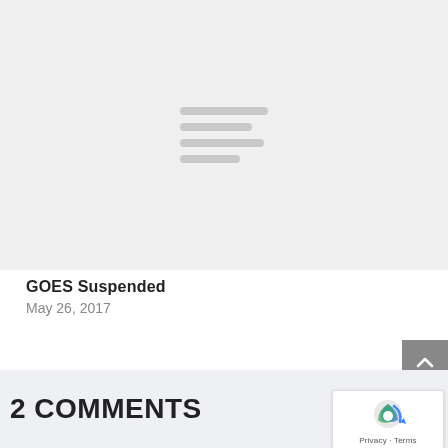[Figure (other): Gray placeholder image with four horizontal lines in the center indicating a loading or missing image]
GOES Suspended
May 26, 2017
2 COMMENTS
[Figure (other): reCAPTCHA badge with Privacy and Terms links]